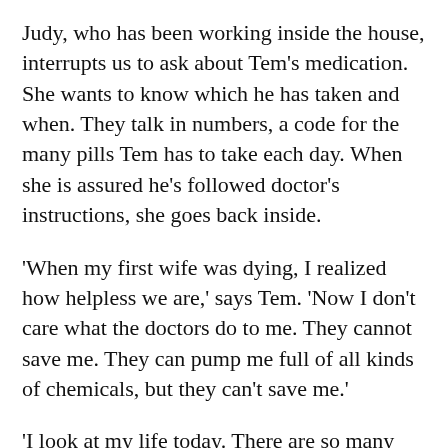Judy, who has been working inside the house, interrupts us to ask about Tem's medication. She wants to know which he has taken and when. They talk in numbers, a code for the many pills Tem has to take each day. When she is assured he's followed doctor's instructions, she goes back inside.
'When my first wife was dying, I realized how helpless we are,' says Tem. 'Now I don't care what the doctors do to me. They cannot save me. They can pump me full of all kinds of chemicals, but they can't save me.'
'I look at my life today. There are so many parallels for my life now and back when I was leaving Cuba as a boy. I was so excited to come to a new country. I was so enthused. Now this physical life is coming to an end, and I get so excited thinking about going to a new